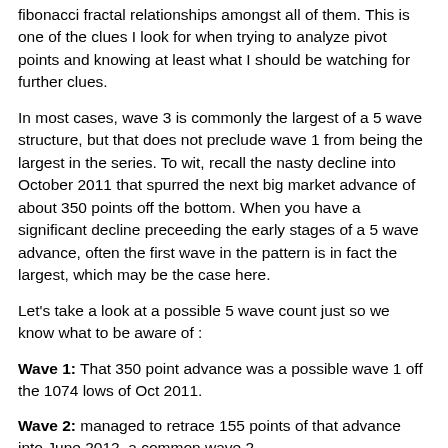fibonacci fractal relationships amongst all of them. This is one of the clues I look for when trying to analyze pivot points and knowing at least what I should be watching for further clues.
In most cases, wave 3 is commonly the largest of a 5 wave structure, but that does not preclude wave 1 from being the largest in the series. To wit, recall the nasty decline into October 2011 that spurred the next big market advance of about 350 points off the bottom. When you have a significant decline preceeding the early stages of a 5 wave advance, often the first wave in the pattern is in fact the largest, which may be the case here.
Let’s take a look at a possible 5 wave count just so we know what to be aware of :
Wave 1: That 350 point advance was a possible wave 1 off the 1074 lows of Oct 2011.
Wave 2: managed to retrace 155 points of that advance into June 2012, a common wave 2.